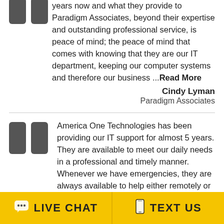years now and what they provide to Paradigm Associates, beyond their expertise and outstanding professional service, is peace of mind; the peace of mind that comes with knowing that they are our IT department, keeping our computer systems and therefore our business ...Read More
Cindy Lyman
Paradigm Associates
America One Technologies has been providing our IT support for almost 5 years. They are available to meet our daily needs in a professional and timely manner. Whenever we have emergencies, they are always available to help either remotely or will come in at a moment's notice to fix the problem. It's ...Read More
Pauline Rockwell
[Figure (infographic): Footer bar with two yellow buttons: LIVE CHAT (with speech bubble icon) and TEXT US (with phone icon)]